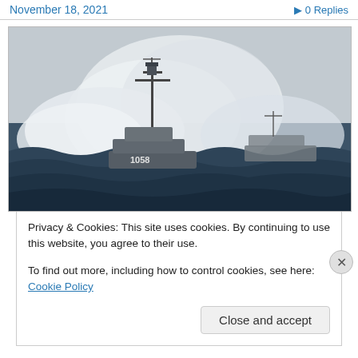November 18, 2021    ▶ 0 Replies
[Figure (photo): Black and white photograph of a naval vessel (numbered 1058) being engulfed by large waves at sea, with another ship visible in the background.]
Privacy & Cookies: This site uses cookies. By continuing to use this website, you agree to their use.
To find out more, including how to control cookies, see here: Cookie Policy
Close and accept